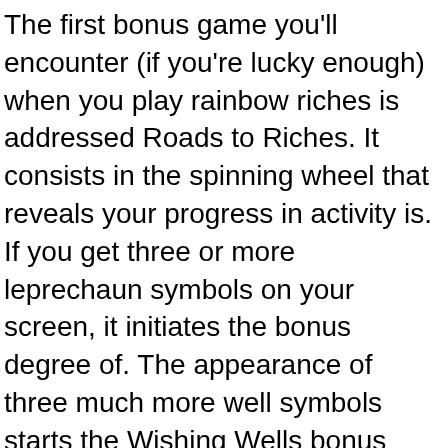The first bonus game you'll encounter (if you're lucky enough) when you play rainbow riches is addressed Roads to Riches. It consists in the spinning wheel that reveals your progress in activity is. If you get three or more leprechaun symbols on your screen, it initiates the bonus degree of. The appearance of three much more well symbols starts the Wishing Wells bonus action. This involves clicking on a random well out of multiple items. You get a multiplying factor and your hard is multiplied by that much. Finally, you have the Pots of Gold rewards slot online . This level is started when you are getting three Pots of Gold symbols in the screen, the guts three ones only excluding the left-most and right-most reels.
No, they can't! Online slot machines have payouts